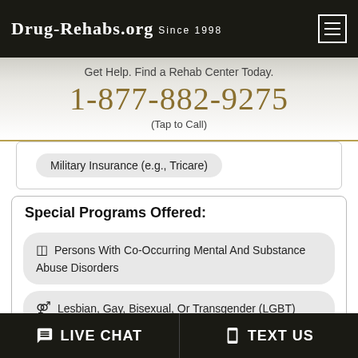Drug-Rehabs.org Since 1998
Get Help. Find a Rehab Center Today.
1-877-882-9275
(Tap to Call)
Military Insurance (e.g., Tricare)
Special Programs Offered:
Persons With Co-Occurring Mental And Substance Abuse Disorders
Lesbian, Gay, Bisexual, Or Transgender (LGBT) Clients
LIVE CHAT   TEXT US